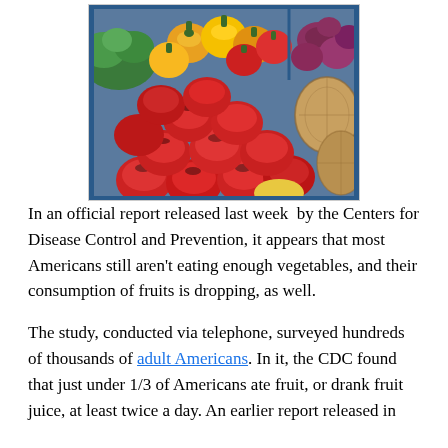[Figure (photo): A colorful display of fruits and vegetables at a market stall, showing red apples in the foreground, orange and yellow bell peppers in the back left, purple/red onions in the back right, and cantaloupes on the right side, all arranged in blue crates/bins.]
In an official report released last week  by the Centers for Disease Control and Prevention, it appears that most Americans still aren't eating enough vegetables, and their consumption of fruits is dropping, as well.
The study, conducted via telephone, surveyed hundreds of thousands of adult Americans. In it, the CDC found that just under 1/3 of Americans ate fruit, or drank fruit juice, at least twice a day. An earlier report released in